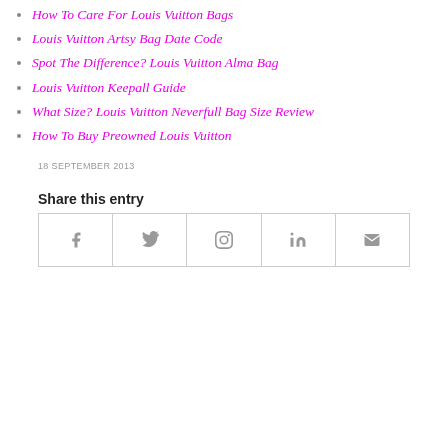How To Care For Louis Vuitton Bags
Louis Vuitton Artsy Bag Date Code
Spot The Difference? Louis Vuitton Alma Bag
Louis Vuitton Keepall Guide
What Size? Louis Vuitton Neverfull Bag Size Review
How To Buy Preowned Louis Vuitton
18 SEPTEMBER 2013
Share this entry
[Figure (other): Social share buttons row: Facebook, Twitter, Pinterest, LinkedIn, Email icons in bordered cells]